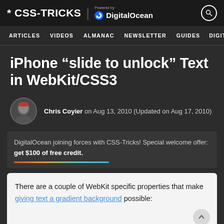* CSS-TRICKS | Powered by DigitalOcean
ARTICLES  VIDEOS  ALMANAC  NEWSLETTER  GUIDES  DIGITALOCEAN
iPhone “slide to unlock” Text in WebKit/CSS3
Chris Coyier on Aug 13, 2010 (Updated on Aug 17, 2010)
DigitalOcean joining forces with CSS-Tricks! Special welcome offer: get $100 of free credit.
There are a couple of WebKit specific properties that make giving text a gradient background possible: